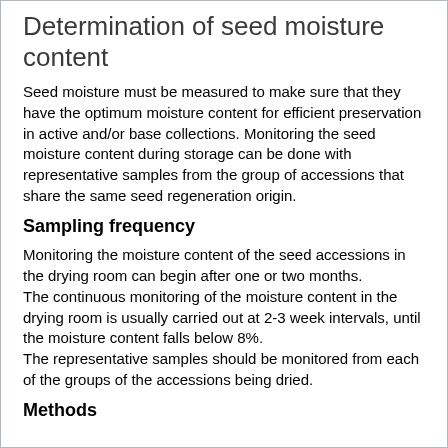Determination of seed moisture content
Seed moisture must be measured to make sure that they have the optimum moisture content for efficient preservation in active and/or base collections. Monitoring the seed moisture content during storage can be done with representative samples from the group of accessions that share the same seed regeneration origin.
Sampling frequency
Monitoring the moisture content of the seed accessions in the drying room can begin after one or two months. The continuous monitoring of the moisture content in the drying room is usually carried out at 2-3 week intervals, until the moisture content falls below 8%. The representative samples should be monitored from each of the groups of the accessions being dried.
Methods